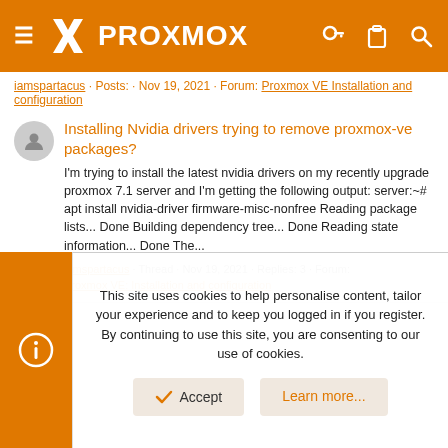PROXMOX
iamspartacus · Posts: · Nov 19, 2021 · Forum: Proxmox VE Installation and configuration
Installing Nvidia drivers trying to remove proxmox-ve packages?
I'm trying to install the latest nvidia drivers on my recently upgrade proxmox 7.1 server and I'm getting the following output: server:~# apt install nvidia-driver firmware-misc-nonfree Reading package lists... Done Building dependency tree... Done Reading state information... Done The...
iamspartacus · Thread · Nov 19, 2021 · Replies: 3 · Forum: Proxmox VE: Installation and configuration
This site uses cookies to help personalise content, tailor your experience and to keep you logged in if you register. By continuing to use this site, you are consenting to our use of cookies.